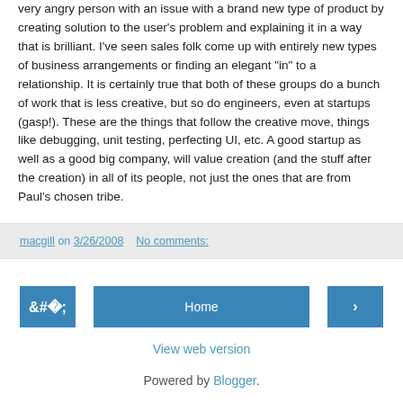very angry person with an issue with a brand new type of product by creating solution to the user's problem and explaining it in a way that is brilliant. I've seen sales folk come up with entirely new types of business arrangements or finding an elegant "in" to a relationship. It is certainly true that both of these groups do a bunch of work that is less creative, but so do engineers, even at startups (gasp!). These are the things that follow the creative move, things like debugging, unit testing, perfecting UI, etc. A good startup as well as a good big company, will value creation (and the stuff after the creation) in all of its people, not just the ones that are from Paul's chosen tribe.
macgill on 3/26/2008   No comments:
Home
View web version
Powered by Blogger.